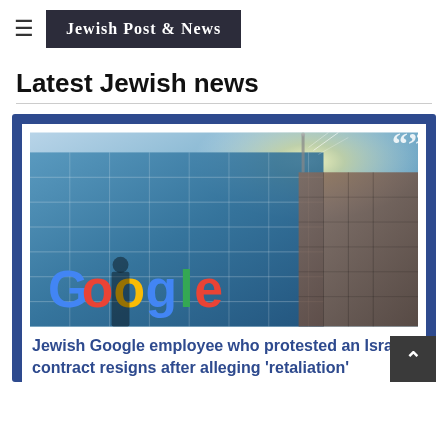Jewish Post & News
Latest Jewish news
[Figure (photo): Google building exterior with large colorful Google logo on glass facade, sunlight visible in top-right corner]
Jewish Google employee who protested an Israeli contract resigns after alleging 'retaliation'